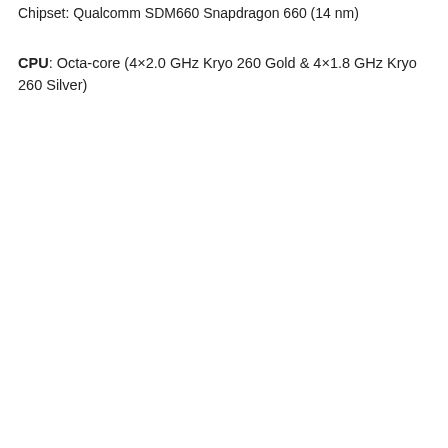Chipset: Qualcomm SDM660 Snapdragon 660 (14 nm)
CPU: Octa-core (4×2.0 GHz Kryo 260 Gold & 4×1.8 GHz Kryo 260 Silver)